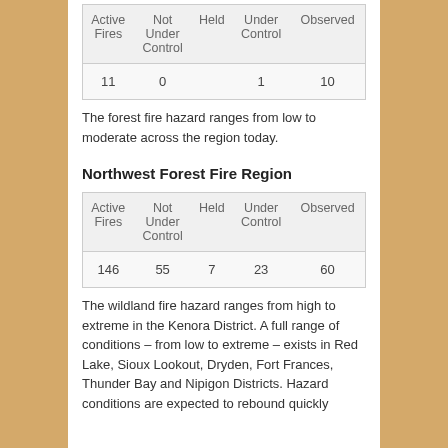| Active Fires | Not Under Control | Held | Under Control | Observed |
| --- | --- | --- | --- | --- |
| 11 | 0 |  | 1 | 10 |
The forest fire hazard ranges from low to moderate across the region today.
Northwest Forest Fire Region
| Active Fires | Not Under Control | Held | Under Control | Observed |
| --- | --- | --- | --- | --- |
| 146 | 55 | 7 | 23 | 60 |
The wildland fire hazard ranges from high to extreme in the Kenora District. A full range of conditions – from low to extreme – exists in Red Lake, Sioux Lookout, Dryden, Fort Frances, Thunder Bay and Nipigon Districts. Hazard conditions are expected to rebound quickly